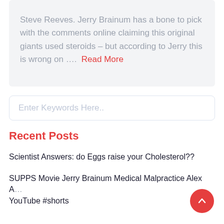Steve Reeves. Jerry Brainum has a bone to pick with the comments online claiming this original giants used steroids – but according to Jerry this is wrong on ….  Read More
Enter Keywords Here..
Recent Posts
Scientist Answers: do Eggs raise your Cholesterol??
SUPPS Movie Jerry Brainum Medical Malpractice Alex A… YouTube #shorts